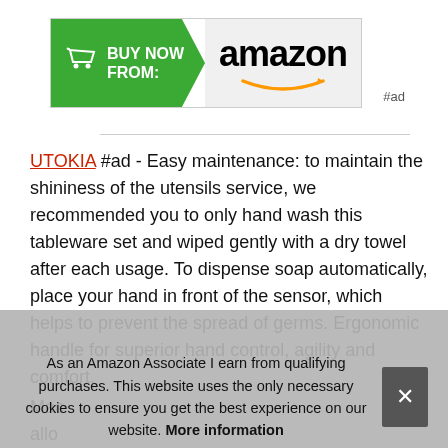[Figure (other): Amazon 'Buy Now From: amazon' button banner with green arrow-shaped left side containing cart icon and white text 'BUY NOW FROM:', and light grey right side with Amazon logo]
#ad
UTOKIA #ad - Easy maintenance: to maintain the shininess of the utensils service, we recommended you to only hand wash this tableware set and wiped gently with a dry towel after each usage. To dispense soap automatically, place your hand in front of the sensor, which helps to prevent the spread of germs. Ergonomic handle for superior hand control, agility and comfort.
Mac allow you stu sweep larger areas, dustpan teeth can comb out dirt and dust
As an Amazon Associate I earn from qualifying purchases. This website uses the only necessary cookies to ensure you get the best experience on our website. More information